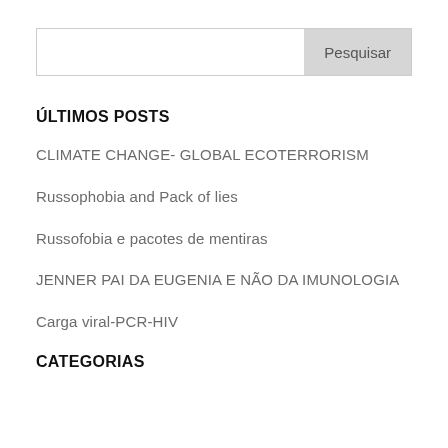[Figure (other): Search bar with text input field and 'Pesquisar' button]
ÚLTIMOS POSTS
CLIMATE CHANGE- GLOBAL ECOTERRORISM
Russophobia and Pack of lies
Russofobia e pacotes de mentiras
JENNER PAI DA EUGENIA E NÃO DA IMUNOLOGIA
Carga viral-PCR-HIV
CATEGORIAS